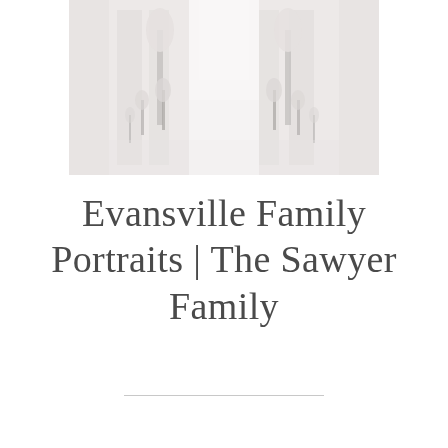[Figure (photo): A bright, airy wedding venue aisle with white floral arrangements and candelabras lining both sides, viewed from a centered perspective looking down the aisle.]
Evansville Family Portraits | The Sawyer Family